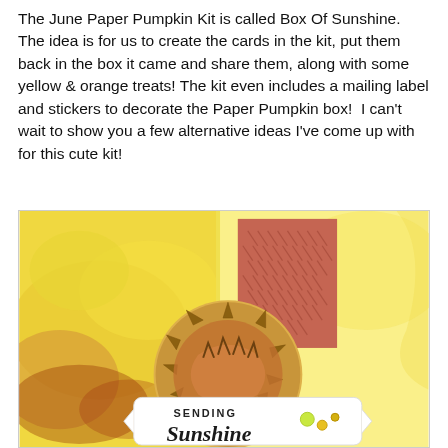The June Paper Pumpkin Kit is called Box Of Sunshine. The idea is for us to create the cards in the kit, put them back in the box it came and share them, along with some yellow & orange treats! The kit even includes a mailing label and stickers to decorate the Paper Pumpkin box!  I can't wait to show you a few alternative ideas I've come up with for this cute kit!
[Figure (photo): A close-up photo of a handmade greeting card from the June Paper Pumpkin 'Box Of Sunshine' kit. The card features yellow and orange watercolor-style backgrounds with a coral/pink patterned panel, a circular die-cut with a decorative sun motif, and a white label-shaped sentiment banner reading 'SENDING Sunshine' in mixed typography.]